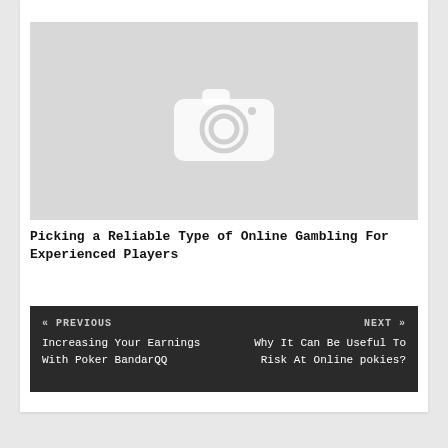GAMES
[Figure (photo): Placeholder image with camera icon on grey background]
Picking a Reliable Type of Online Gambling For Experienced Players
« PREVIOUS
Increasing Your Earnings With Poker BandarQQ
NEXT »
Why It Can Be Useful To Risk At Online pokies?